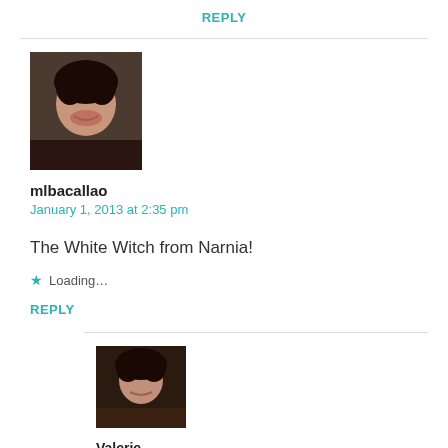REPLY
[Figure (photo): Avatar photo of mlbacallao — woman with dark hair smiling]
mlbacallao
January 1, 2013 at 2:35 pm
The White Witch from Narnia!
Loading...
REPLY
[Figure (photo): Avatar photo of Valerie — woman with dark hair]
Valerie
January 2, 2013 at 12:17 am
Believe it or not, I'm not all that familiar with